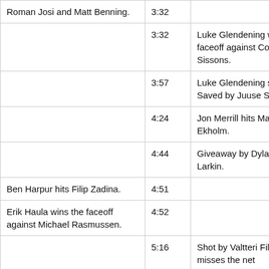| Nashville | Time | Detroit |
| --- | --- | --- |
| [Luke Hamill goal. Assisted by Roman Josi and Matt Benning.] | 3:32 |  |
|  | 3:32 | Luke Glendening wins the faceoff against Colton Sissons. |
|  | 3:57 | Luke Glendening shoots Saved by Juuse Saros. |
|  | 4:24 | Jon Merrill hits Mattias Ekholm. |
|  | 4:44 | Giveaway by Dylan Larkin. |
| Ben Harpur hits Filip Zadina. | 4:51 |  |
| Erik Haula wins the faceoff against Michael Rasmussen. | 4:52 |  |
|  | 5:16 | Shot by Valtteri Filppula misses the net |
| Ben Harpur hits Anthony | 5:28 |  |